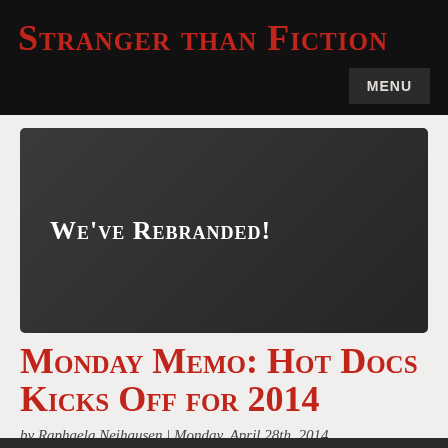Stranger than Fiction
[Figure (illustration): Dark gray banner image with the text "We've Rebranded!" in white small-caps serif font on a dark background]
Monday Memo: Hot Docs Kicks Off for 2014
by Raphaela Neihausen | Monday, April 28th, 2014